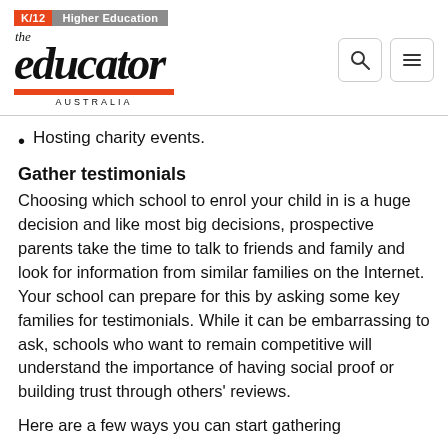K/12 | Higher Education — the educator AUSTRALIA
Hosting charity events.
Gather testimonials
Choosing which school to enrol your child in is a huge decision and like most big decisions, prospective parents take the time to talk to friends and family and look for information from similar families on the Internet. Your school can prepare for this by asking some key families for testimonials. While it can be embarrassing to ask, schools who want to remain competitive will understand the importance of having social proof or building trust through others' reviews.
Here are a few ways you can start gathering testimonials: